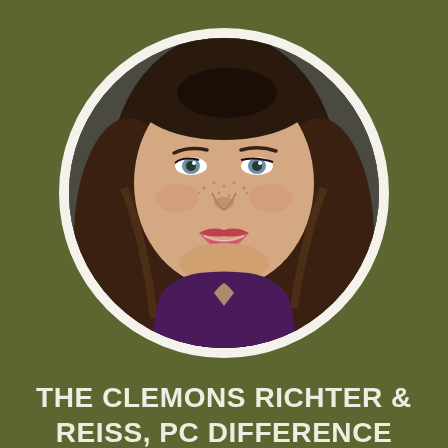[Figure (photo): Circular portrait photo of a young woman with long brown hair, freckles, blue eyes, and red lipstick, wearing a purple top, set against a dark olive/gray background, framed in a white circular border.]
THE CLEMONS RICHTER & REISS, PC DIFFERENCE